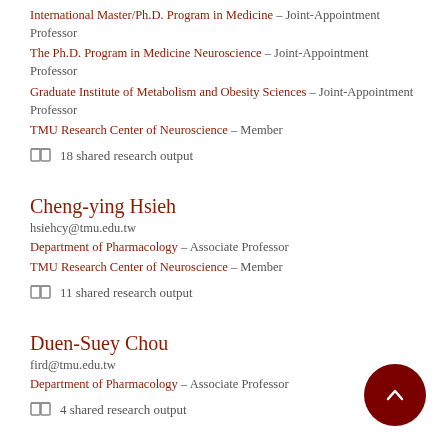International Master/Ph.D. Program in Medicine – Joint-Appointment Professor
The Ph.D. Program in Medicine Neuroscience – Joint-Appointment Professor
Graduate Institute of Metabolism and Obesity Sciences – Joint-Appointment Professor
TMU Research Center of Neuroscience – Member
18 shared research output
Cheng-ying Hsieh
hsiehcy@tmu.edu.tw
Department of Pharmacology – Associate Professor
TMU Research Center of Neuroscience – Member
11 shared research output
Duen-Suey Chou
fird@tmu.edu.tw
Department of Pharmacology – Associate Professor
4 shared research output